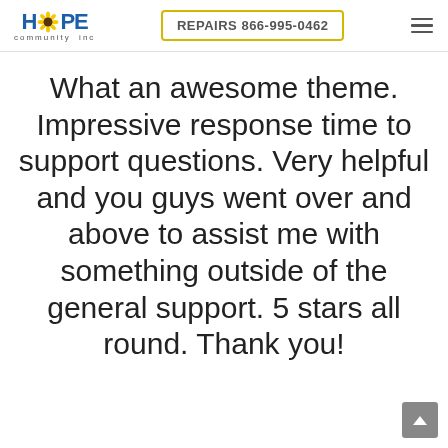HOPE community inc | REPAIRS 866-995-0462
What an awesome theme. Impressive response time to support questions. Very helpful and you guys went over and above to assist me with something outside of the general support. 5 stars all round. Thank you!